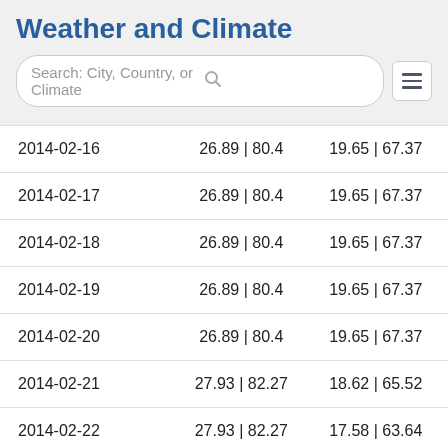Weather and Climate
[Figure (screenshot): Search bar with placeholder text 'Search: City, Country, or Climate' and a hamburger menu icon]
| Date | High | Low |
| --- | --- | --- |
| 2014-02-16 | 26.89 | 80.4 | 19.65 | 67.37 |
| 2014-02-17 | 26.89 | 80.4 | 19.65 | 67.37 |
| 2014-02-18 | 26.89 | 80.4 | 19.65 | 67.37 |
| 2014-02-19 | 26.89 | 80.4 | 19.65 | 67.37 |
| 2014-02-20 | 26.89 | 80.4 | 19.65 | 67.37 |
| 2014-02-21 | 27.93 | 82.27 | 18.62 | 65.52 |
| 2014-02-22 | 27.93 | 82.27 | 17.58 | 63.64 |